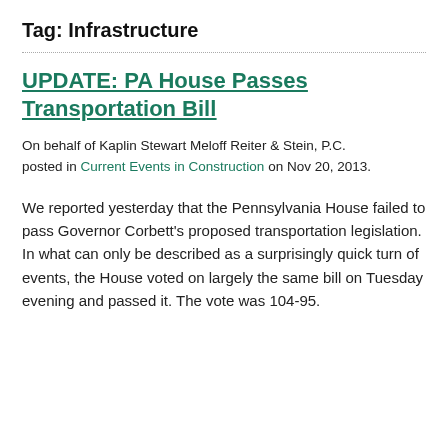Tag: Infrastructure
UPDATE: PA House Passes Transportation Bill
On behalf of Kaplin Stewart Meloff Reiter & Stein, P.C. posted in Current Events in Construction on Nov 20, 2013.
We reported yesterday that the Pennsylvania House failed to pass Governor Corbett's proposed transportation legislation. In what can only be described as a surprisingly quick turn of events, the House voted on largely the same bill on Tuesday evening and passed it. The vote was 104-95.